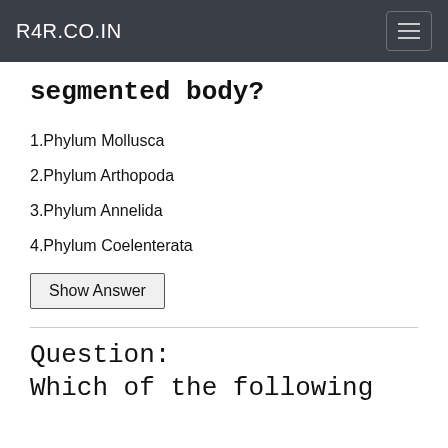R4R.CO.IN
segmented body?
1.Phylum Mollusca
2.Phylum Arthopoda
3.Phylum Annelida
4.Phylum Coelenterata
Show Answer
Question:
Which of the following